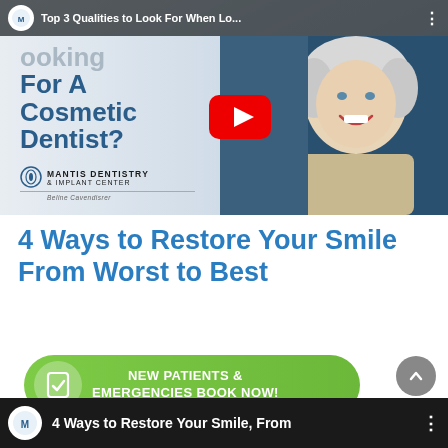[Figure (screenshot): YouTube video thumbnail for 'Top 3 Qualities to Look For When Lo...' by Mantis Dentistry & Implant Center. Shows partial text 'For A Cosmetic Dentist?' in blue on left, woman with white hair smiling on right, YouTube play button overlay, Mantis Dentistry logo at bottom left.]
4 Ways to Restore Your Smile From Worst to Best
[Figure (screenshot): Green CTA button: NEW PATIENTS & EMERGENCIES BOOK NOW! with checkmark icon on left. Gray scroll-up arrow button on right.]
[Figure (screenshot): Bottom bar showing Mantis Dentistry channel logo and beginning of '4 Ways to Restore Your Smile, From' video title on dark background.]